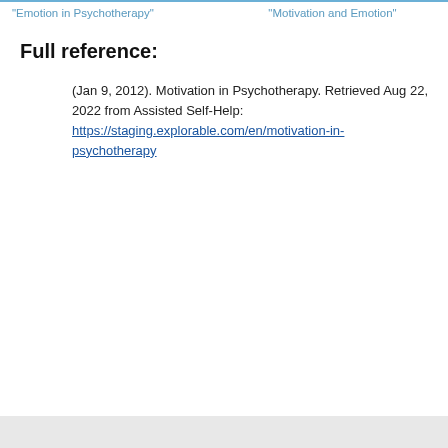"Emotion in Psychotherapy"
"Motivation and Emotion"
Full reference:
(Jan 9, 2012). Motivation in Psychotherapy. Retrieved Aug 22, 2022 from Assisted Self-Help: https://staging.explorable.com/en/motivation-in-psychotherapy